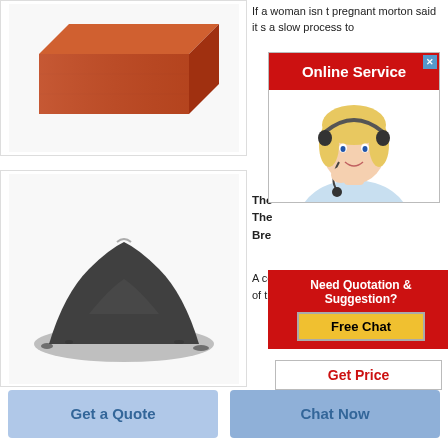[Figure (photo): Red clay brick on white background]
If a woman isn t pregnant morton said it s a slow process to
[Figure (screenshot): Online Service button with red background and close X, with customer service agent photo]
[Figure (photo): Pile of dark grey/black powder material on white background]
The 
The 
Bre
A co of the
[Figure (screenshot): Need Quotation & Suggestion? Free Chat popup with red background and yellow button]
Get Price
Get a Quote
Chat Now